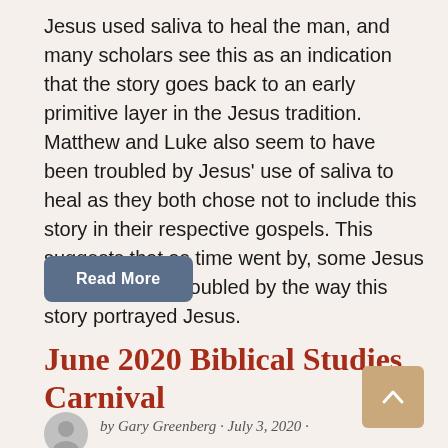Jesus used saliva to heal the man, and many scholars see this as an indication that the story goes back to an early primitive layer in the Jesus tradition. Matthew and Luke also seem to have been troubled by Jesus' use of saliva to heal as they both chose not to include this story in their respective gospels. This suggests that as time went by, some Jesus followers were troubled by the way this story portrayed Jesus.
Read More
June 2020 Biblical Studies Carnival
by Gary Greenberg · July 3, 2020 ·